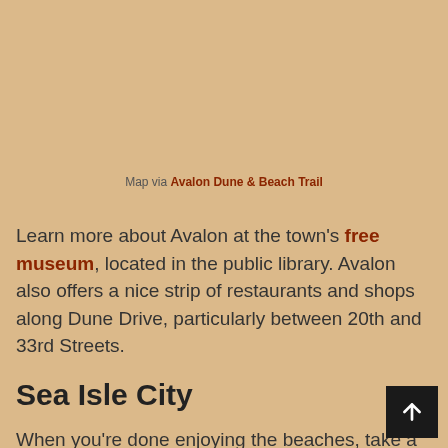Map via Avalon Dune & Beach Trail
Learn more about Avalon at the town's free museum, located in the public library. Avalon also offers a nice strip of restaurants and shops along Dune Drive, particularly between 20th and 33rd Streets.
Sea Isle City
When you're done enjoying the beaches, take a stroll